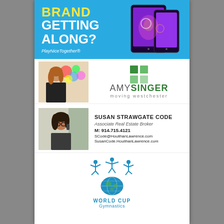[Figure (advertisement): Blue background ad banner with yellow bold text BRAND and white bold text GETTING ALONG? with tagline PlayNiceTogether® and images of mobile devices on right]
[Figure (photo): Photo of Amy Singer, a woman with reddish-brown hair wearing black, standing in front of colorful artwork]
[Figure (logo): Amy Singer Moving Westchester logo with green squares grid and text AMY SINGER moving westchester]
[Figure (photo): Photo of Susan Strawgate Code, a woman with dark hair wearing glasses, holding a phone]
SUSAN STRAWGATE CODE
Associate Real Estate Broker
M: 914.715.4121
SCode@HoulihanLawrence.com
SusanCode.HoulihanLawrence.com
[Figure (logo): World Cup Gymnastics logo with teal gymnasts above a globe, text WORLD CUP and Gymnastics below]